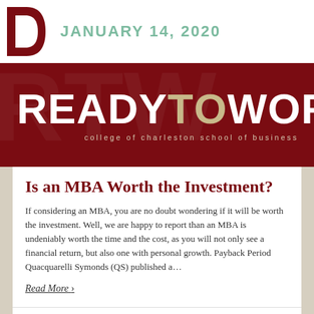JANUARY 14, 2020
[Figure (logo): ReadyToWork - College of Charleston School of Business banner logo on dark red background]
Is an MBA Worth the Investment?
If considering an MBA, you are no doubt wondering if it will be worth the investment. Well, we are happy to report than an MBA is undeniably worth the time and the cost, as you will not only see a financial return, but also one with personal growth. Payback Period Quacquarelli Symonds (QS) published a…
Read More ›
#Business Administration
No comments
Laura Everett